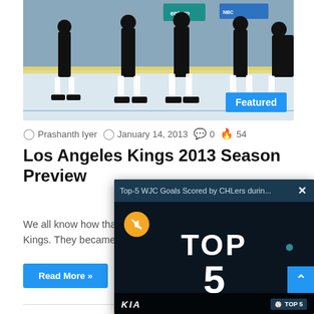[Figure (photo): Hockey players on ice rink, Los Angeles Kings themed, with 'Featured' badge in bottom right corner]
Prashanth Iyer  January 14, 2013  0  54
Los Angeles Kings 2013 Season Preview
We all know how that 2011-2012 season ended for the Kings. They became the first 8-seed to ever win the...
Read More »
Poll
[Figure (screenshot): Video popup overlay showing 'Top-5 WJC Goals Scored by CHLers durin...' with TOP 5 text, mute button, Kia logo, and close button]
Will the Tampa Bay Li... for a 4t...
Yes